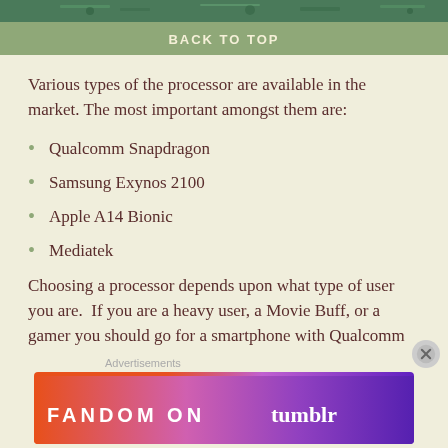[Figure (photo): Green circuit board image strip at top]
BACK TO TOP
Various types of the processor are available in the market. The most important amongst them are:
Qualcomm Snapdragon
Samsung Exynos 2100
Apple A14 Bionic
Mediatek
Choosing a processor depends upon what type of user you are.  If you are a heavy user, a Movie Buff, or a gamer you should go for a smartphone with Qualcomm Snapdragon 730G or higher.  If you are a normal smartphone user, a Mediatech Helio P35 SoC processor should be fine for you.
Advertisements
[Figure (photo): Fandom on Tumblr advertisement banner with colorful gradient background]